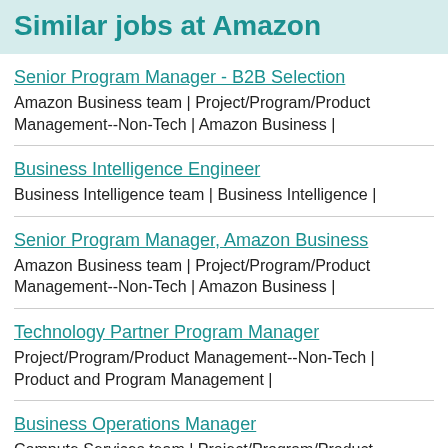Similar jobs at Amazon
Senior Program Manager - B2B Selection
Amazon Business team | Project/Program/Product Management--Non-Tech | Amazon Business |
Business Intelligence Engineer
Business Intelligence team | Business Intelligence |
Senior Program Manager, Amazon Business
Amazon Business team | Project/Program/Product Management--Non-Tech | Amazon Business |
Technology Partner Program Manager
Project/Program/Product Management--Non-Tech | Product and Program Management |
Business Operations Manager
Compute Services team | Project/Program/Product Management--Non-Tech | Product and Program